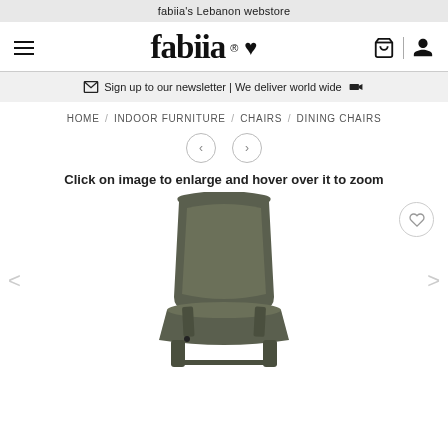fabiia's Lebanon webstore
[Figure (logo): fabiia logo with registered trademark, heart icon, shopping basket icon, and user icon]
Sign up to our newsletter | We deliver world wide
HOME / INDOOR FURNITURE / CHAIRS / DINING CHAIRS
Click on image to enlarge and hover over it to zoom
[Figure (photo): A dark olive/grey upholstered dining chair with matching wooden legs, shown from a three-quarter rear angle. There is a wishlist heart button overlaid top-right, and left/right navigation arrows on the sides.]